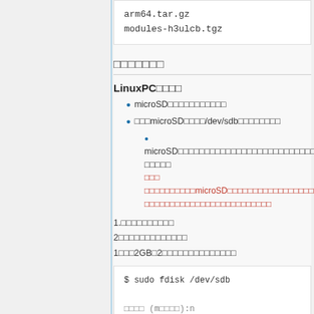arm64.tar.gz
modules-h3ulcb.tgz
□□□□□□□
LinuxPC□□□□
microSD□□□□□□□□□□□
□□□microSD□□□□/dev/sdb□□□□□□□□
microSD□□□□□□□□□□□□□□□□□□□□□□□□□□□□□□□□□□□□□
□□□□□  □□□ □□□□□□□□□□microSD□□□□□□□□□□□□□□□□□□□□□□□□□□□□□□□□□□□□□□□□
1.□□□□□□□□□□
2□□□□□□□□□□□□□
1□□□2GB□2□□□□□□□□□□□□□□
$ sudo fdisk /dev/sdb

□□□□ (m□□□□):n